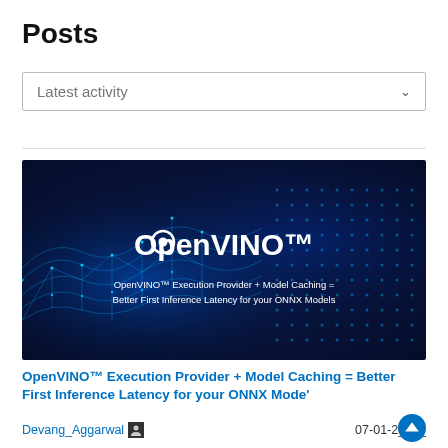Posts
Latest activity
[Figure (screenshot): OpenVINO banner image with dark blue background and glowing blue network mesh. Text reads: OpenVINO™ Execution Provider + Model Caching = Better First Inference Latency for your ONNX Models]
OpenVINO™ Execution Provider + Model Caching = Better First Inference Latency for your ONNX Mode'
Devang_Aggarwal  07-01-2_ _ _